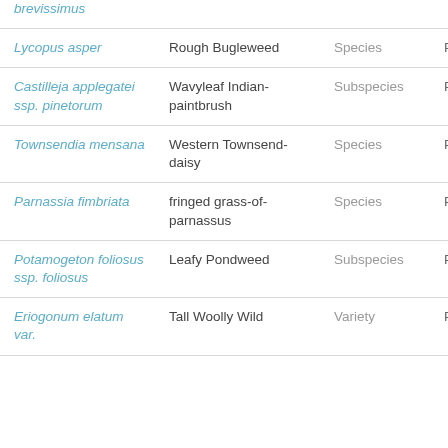| Scientific Name | Common Name | Rank | Kingdom |
| --- | --- | --- | --- |
| brevissimus |  |  |  |
| Lycopus asper | Rough Bugleweed | Species | Plant |
| Castilleja applegatei ssp. pinetorum | Wavyleaf Indian-paintbrush | Subspecies | Plant |
| Townsendia mensana | Western Townsend-daisy | Species | Plant |
| Parnassia fimbriata | fringed grass-of-parnassus | Species | Plant |
| Potamogeton foliosus ssp. foliosus | Leafy Pondweed | Subspecies | Plant |
| Eriogonum elatum var. | Tall Woolly Wild | Variety | Plant |